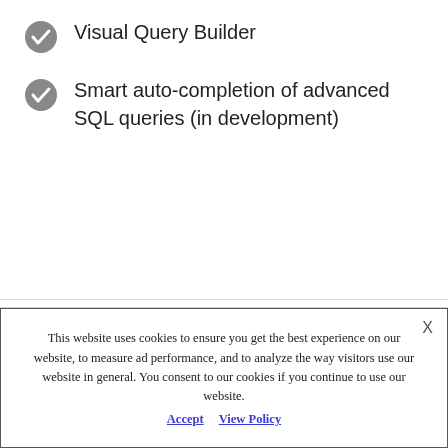Visual Query Builder
Smart auto-completion of advanced SQL queries (in development)
Import Data
[Figure (illustration): A large white circle with soft gray shadow/gradient, representing a loading or upload icon placeholder in the Import Data section.]
This website uses cookies to ensure you get the best experience on our website, to measure ad performance, and to analyze the way visitors use our website in general. You consent to our cookies if you continue to use our website. Accept View Policy